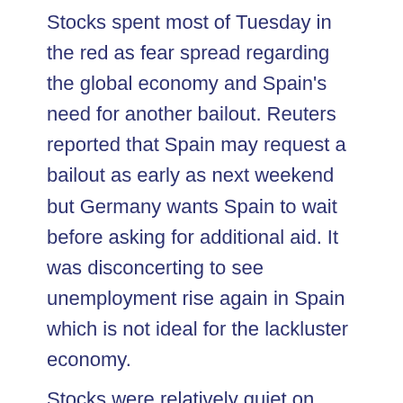Stocks spent most of Tuesday in the red as fear spread regarding the global economy and Spain's need for another bailout. Reuters reported that Spain may request a bailout as early as next weekend but Germany wants Spain to wait before asking for additional aid. It was disconcerting to see unemployment rise again in Spain which is not ideal for the lackluster economy.
Stocks were relatively quiet on Wednesday as investors digested a big plunge in oil prices, a stronger than expected ADP jobs report and continued to wait for Friday's official non-farm payrolls report. Oil prices fell as social unrest continued in Iran. The Iranian currency is in a virtual free fall which has caused scores of people to